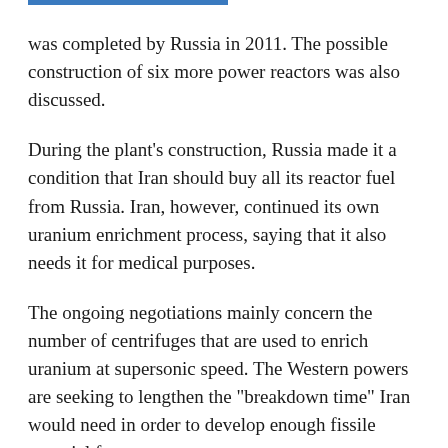was completed by Russia in 2011. The possible construction of six more power reactors was also discussed.
During the plant's construction, Russia made it a condition that Iran should buy all its reactor fuel from Russia. Iran, however, continued its own uranium enrichment process, saying that it also needs it for medical purposes.
The ongoing negotiations mainly concern the number of centrifuges that are used to enrich uranium at supersonic speed. The Western powers are seeking to lengthen the "breakdown time" Iran would need in order to develop enough fissile material for a